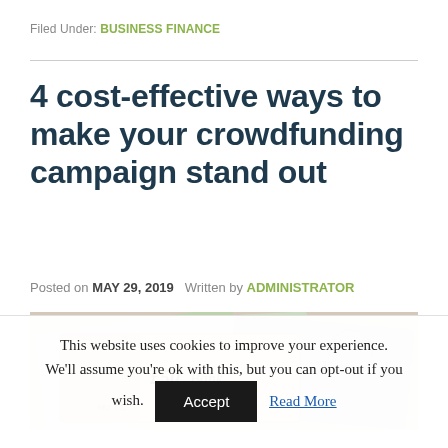Filed Under: BUSINESS FINANCE
4 cost-effective ways to make your crowdfunding campaign stand out
Posted on MAY 29, 2019   Written by ADMINISTRATOR
[Figure (photo): Photo of British pound banknotes including a £50 note fanned out]
This website uses cookies to improve your experience. We'll assume you're ok with this, but you can opt-out if you wish.  Accept  Read More